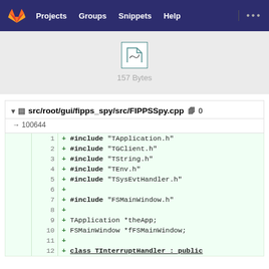Projects  Groups  Snippets  Help
[Figure (screenshot): File preview icon showing a small SVG/image icon with '157 Bytes' label below it on a grey background]
157 Bytes
▾  ▣  src/root/gui/fipps_spy/src/FIPPSSpy.cpp  🗋  0
→ 100644
1  + #include "TApplication.h"
2  + #include "TGClient.h"
3  + #include "TString.h"
4  + #include "TEnv.h"
5  + #include "TSysEvtHandler.h"
6  +
7  + #include "FSMainWindow.h"
8  +
9  + TApplication *theApp;
10  + FSMainWindow *fFSMainWindow;
11  +
12  + class TInterruptHandler : public